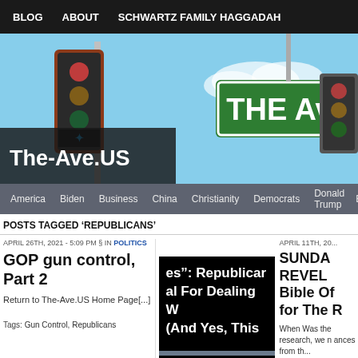BLOG   ABOUT   SCHWARTZ FAMILY HAGGADAH
[Figure (illustration): The-Ave.US website banner with street sign illustration showing 'THE Ave' green street sign, traffic signals, and sky background. Text overlay reads 'The-Ave.US']
America   Biden   Business   China   Christianity   Democrats   Donald Trump   B...
POSTS TAGGED 'REPUBLICANS'
APRIL 26TH, 2021 - 5:09 PM § IN POLITICS
GOP gun control, Part 2
Return to The-Ave.US Home Page[...]
Tags: Gun Control, Republicans
[Figure (screenshot): Black background image with white bold text reading 'es": Republican al For Dealing W (And Yes, This' - partial text visible]
1 Comment
APRIL 11TH, 20...
SUNDA REVEL Bible Of for The R
When Was the research, we n ances from th...